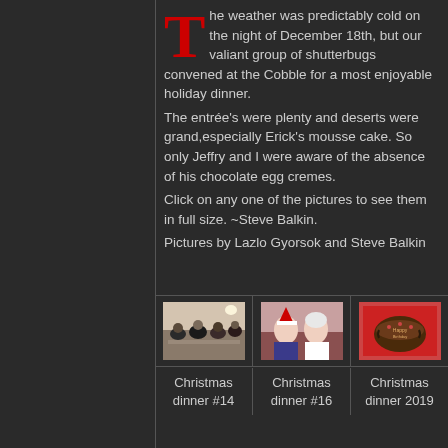The weather was predictably cold on the night of December 18th, but our valiant group of shutterbugs convened at the Cobble for a most enjoyable holiday dinner. The entrée's were plenty and deserts were grand,especially Erick's mousse cake. So only Jeffry and I were aware of the absence of his chocolate egg cremes. Click on any one of the pictures to see them in full size. ~Steve Balkin. Pictures by Lazlo Gyorsok and Steve Balkin
[Figure (photo): Group of people seated at dinner tables in a restaurant setting]
[Figure (photo): Two women, one wearing a Santa hat, seated together]
[Figure (photo): A chocolate cake in a box]
Christmas dinner #14
Christmas dinner #16
Christmas dinner 2019